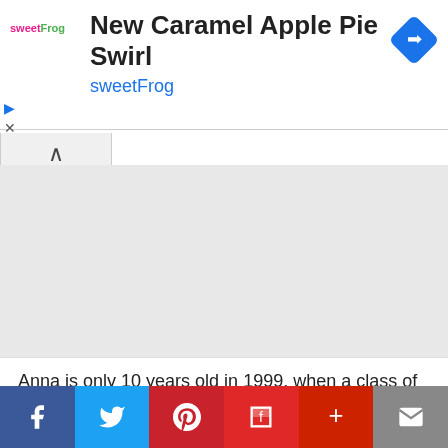[Figure (screenshot): Advertisement banner for sweetFrog showing 'New Caramel Apple Pie Swirl' with sweetFrog logo, blue navigation arrow icon, and ad controls]
Anna is only 10 years old in 1999, when a class of graduating students vanishes without a trace. She was close to one of the missing students and becomes traumatized
[Figure (infographic): Social share bar with Facebook, Twitter, Pinterest, Flipboard, More (+), and Email buttons]